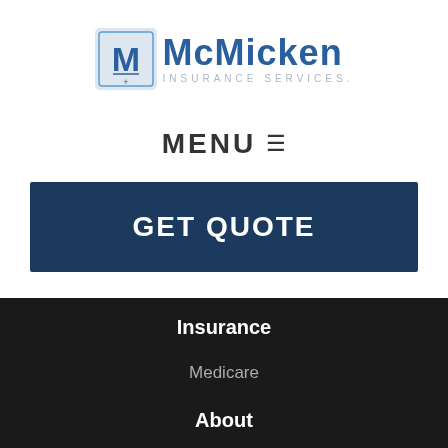[Figure (logo): McMicken Insurance Services logo with stylized M icon in blue square and company name in blue text]
MENU ≡
GET QUOTE
Insurance
Medicare
About